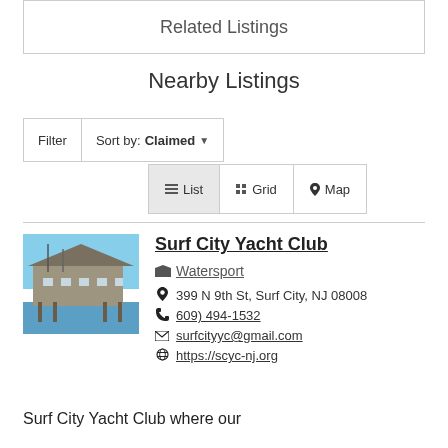Related Listings
Nearby Listings
Filter  Sort by: Claimed ▼
☰ List  ⊞ Grid  ● Map
[Figure (photo): Photo of Surf City Yacht Club building on water with boats and docks, blue sky background]
Surf City Yacht Club
Watersport
399 N 9th St, Surf City, NJ 08008
609) 494-1532
surfcityyc@gmail.com
https://scyc-nj.org
Surf City Yacht Club where our